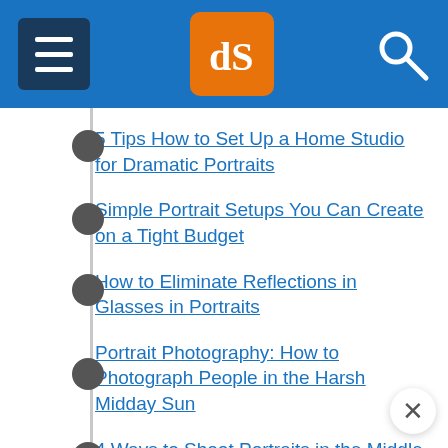dPS - Digital Photography School navigation header
5 Tips How to Set Up a Home Studio for Dramatic Portraits
Simple Portrait Setups You Can Create on a Tight Budget
How to Eliminate Reflections in Glasses in Portraits
Portrait Photography: How to Photograph People in the Harsh Midday Sun
4 Ways to Shoot Portraits in the Middle of the Day
6 Portrait Lighting Patterns Every